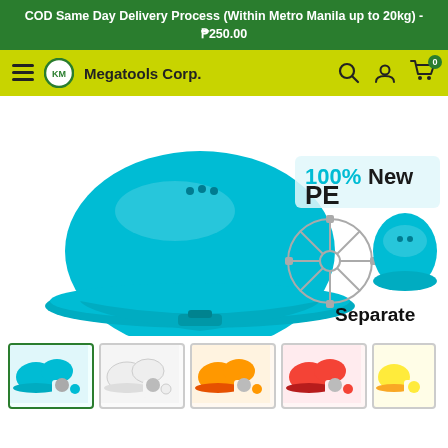COD Same Day Delivery Process (Within Metro Manila up to 20kg) - ₱250.00
[Figure (logo): KM Megatools Corp. navigation bar with hamburger menu, logo, brand name, search icon, user icon, and cart icon with badge 0]
[Figure (photo): Teal/turquoise safety hard hat shown from front-left angle with ventilation holes. Right side shows '100% New PE' label and two inset images showing inside harness frame and top view with text 'Separate']
[Figure (photo): Thumbnail row showing 5 color variants of the safety hard hat: teal (selected/active), white, orange, red, and yellow]